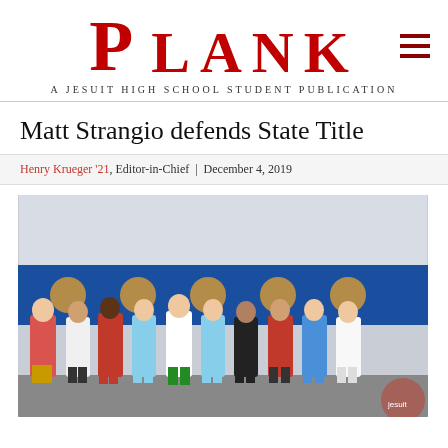PLANK= — A Jesuit High School Student Publication
Matt Strangio defends State Title
Henry Krueger '21, Editor-in-Chief | December 4, 2019
[Figure (photo): Group photo of cross country runners posing together at a state championship event under a tent, holding awards, with a sponsor banner behind them.]